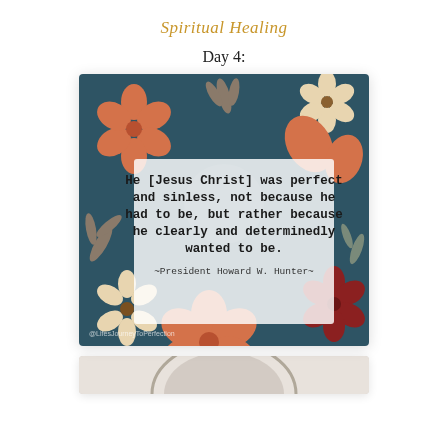Spiritual Healing
Day 4:
[Figure (illustration): A decorative floral image with a dark teal background featuring orange, cream, and dark red flowers and leaf sprigs. Overlaid is a semi-transparent white text box containing the quote: 'He [Jesus Christ] was perfect and sinless, not because he had to be, but rather because he clearly and determinedly wanted to be. ~President Howard W. Hunter~' and a watermark '@LifesJourneyToPerfection' at the bottom left.]
[Figure (illustration): Bottom partial view of another decorative image, showing the top portion of a grey circular element on a light beige background.]